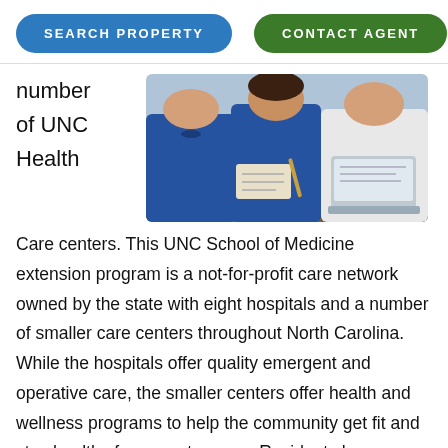SEARCH PROPERTY | CONTACT AGENT
number of UNC Health
[Figure (photo): Medical professionals in scrubs writing notes, with a laptop visible on a table]
Care centers. This UNC School of Medicine extension program is a not-for-profit care network owned by the state with eight hospitals and a number of smaller care centers throughout North Carolina. While the hospitals offer quality emergent and operative care, the smaller centers offer health and wellness programs to help the community get fit and stay healthy for years to come. Residents have access to innovative and industry-leading care, while